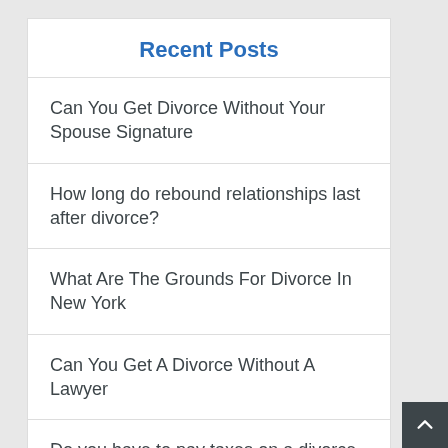Recent Posts
Can You Get Divorce Without Your Spouse Signature
How long do rebound relationships last after divorce?
What Are The Grounds For Divorce In New York
Can You Get A Divorce Without A Lawyer
Do you have to pay taxes on a divorce settlement?